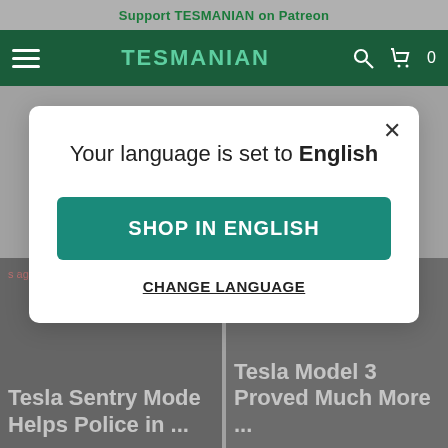Support TESMANIAN on Patreon
TESMANIAN
Your language is set to English
SHOP IN ENGLISH
CHANGE LANGUAGE
s ago • 3 comments
Tesla Sentry Mode Helps Police in ...
6 days ago • 2 comme
Tesla Model 3 Proved Much More ...